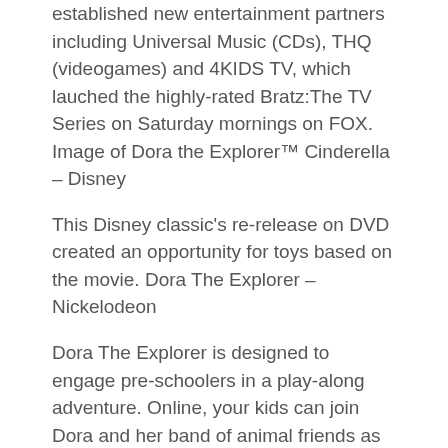established new entertainment partners including Universal Music (CDs), THQ (videogames) and 4KIDS TV, which lauched the highly-rated Bratz:The TV Series on Saturday mornings on FOX.
Image of Dora the Explorer™ Cinderella – Disney
This Disney classic's re-release on DVD created an opportunity for toys based on the movie. Dora The Explorer – Nickelodeon
Dora The Explorer is designed to engage pre-schoolers in a play-along adventure. Online, your kids can join Dora and her band of animal friends as she journeys through the Spooky Forest, Crocodile Lake, and other exciting places. It's on these quests that Dora faces problems and needs your child's help. Dora can't continue her adventure without your child's input. The series is designed to actively encourage pre-schoolers